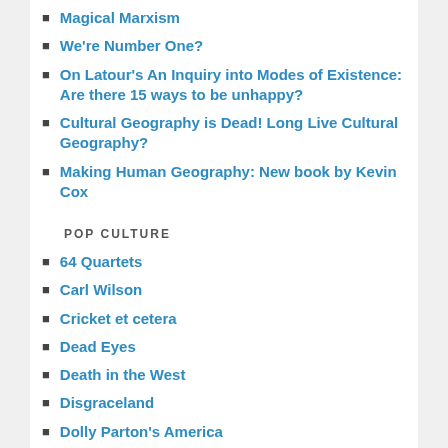Magical Marxism
We're Number One?
On Latour's An Inquiry into Modes of Existence: Are there 15 ways to be unhappy?
Cultural Geography is Dead! Long Live Cultural Geography?
Making Human Geography: New book by Kevin Cox
POP CULTURE
64 Quartets
Carl Wilson
Cricket et cetera
Dead Eyes
Death in the West
Disgraceland
Dolly Parton's America
Hit Parade
Lost Notes: 1980
Switched On Pop
The Last Archive